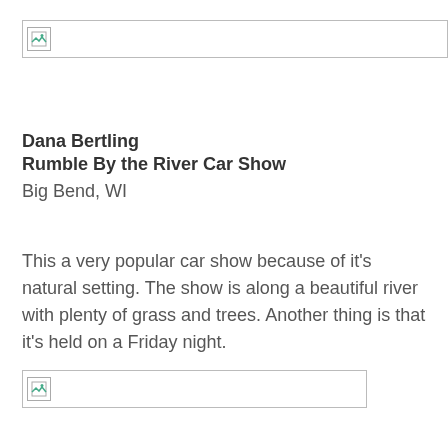[Figure (photo): Broken image placeholder at top of page, full width]
Dana Bertling
Rumble By the River Car Show
Big Bend, WI
This a very popular car show because of it's natural setting. The show is along a beautiful river with plenty of grass and trees. Another thing is that it's held on a Friday night.
[Figure (photo): Broken image placeholder, partial width]